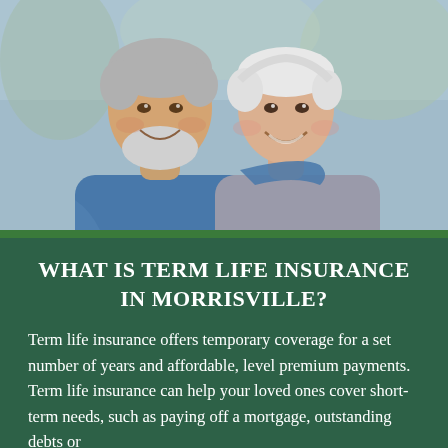[Figure (photo): Smiling older couple, man in blue athletic shirt with arm around woman with short white hair, outdoors with blurred background]
WHAT IS TERM LIFE INSURANCE IN MORRISVILLE?
Term life insurance offers temporary coverage for a set number of years and affordable, level premium payments. Term life insurance can help your loved ones cover short-term needs, such as paying off a mortgage, outstanding debts or